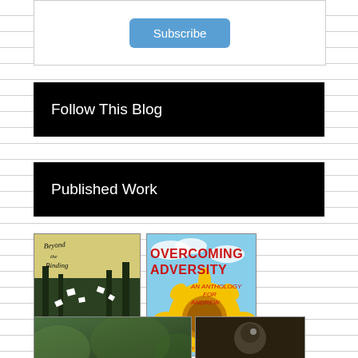[Figure (screenshot): Subscribe button inside a bordered box]
Follow This Blog
Published Work
[Figure (photo): Book cover: Beyond the Binding - shows a person sitting in a forest with papers flying around, yellow-green tones, cursive title text at top]
[Figure (photo): Book cover: Overcoming Adversity - An Anthology for Andrew, edited by Nick Wilford. Shows large sunflower on blue sky background with red title text]
[Figure (photo): Partial book cover (bottom row left) - green nature scene]
[Figure (photo): Partial book cover (bottom row right) - dark toned cover]